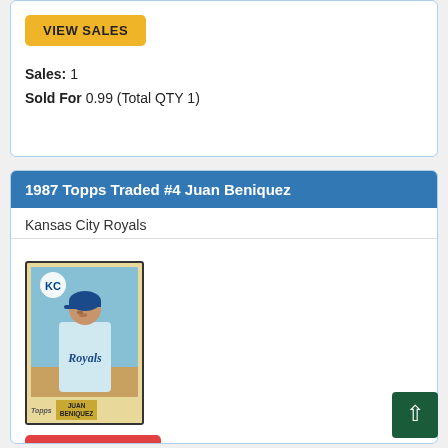VIEW SALES
Sales: 1
Sold For 0.99 (Total QTY 1)
1987 Topps Traded #4 Juan Beniquez
Kansas City Royals
[Figure (photo): 1987 Topps Traded baseball card for Juan Beniquez, Kansas City Royals, showing player in Royals uniform]
SEARCH EBAY
MARKETPLACE